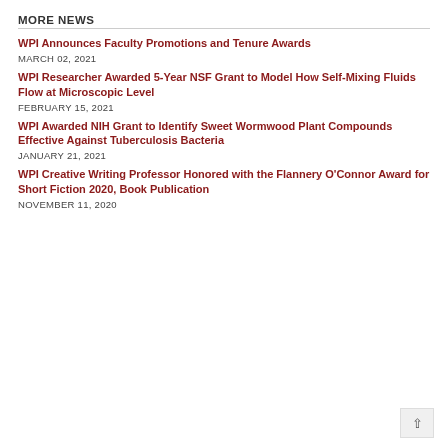MORE NEWS
WPI Announces Faculty Promotions and Tenure Awards
MARCH 02, 2021
WPI Researcher Awarded 5-Year NSF Grant to Model How Self-Mixing Fluids Flow at Microscopic Level
FEBRUARY 15, 2021
WPI Awarded NIH Grant to Identify Sweet Wormwood Plant Compounds Effective Against Tuberculosis Bacteria
JANUARY 21, 2021
WPI Creative Writing Professor Honored with the Flannery O'Connor Award for Short Fiction 2020, Book Publication
NOVEMBER 11, 2020